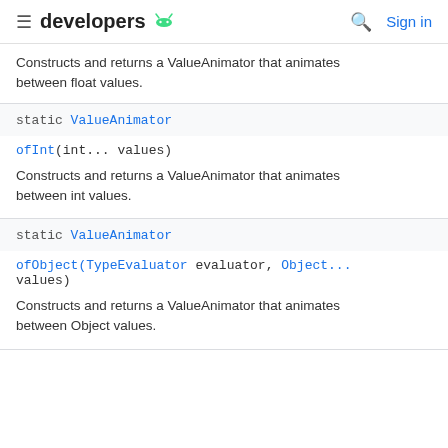≡ developers 🤖  🔍 Sign in
Constructs and returns a ValueAnimator that animates between float values.
static ValueAnimator
ofInt(int... values)
Constructs and returns a ValueAnimator that animates between int values.
static ValueAnimator
ofObject(TypeEvaluator evaluator, Object... values)
Constructs and returns a ValueAnimator that animates between Object values.